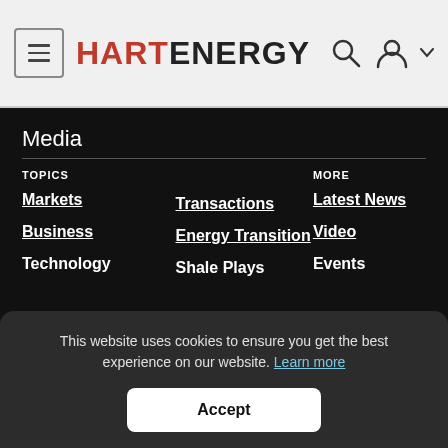HART ENERGY
Media
TOPICS
Markets
Business
Technology
Transactions
Energy Transition
Shale Plays
MORE
Latest News
Video
Events
This website uses cookies to ensure you get the best experience on our website. Learn more
Accept